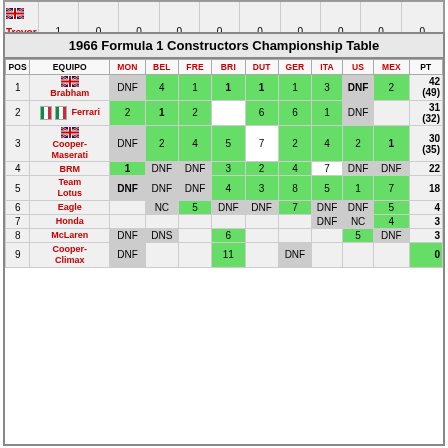|  | Name | MON | BEL | FRE | BRI | DUT | GER | ITA | US | MEX | PT |
| --- | --- | --- | --- | --- | --- | --- | --- | --- | --- | --- | --- |
| 🇬🇧 | Trevor Taylor | 1 | 0 | 0 | 0 | 0 | 0 | 0 | 0 | 0 |  |
1966 Formula 1 Constructors Championship Table
| POS | EQUIPO | MON | BEL | FRE | BRI | DUT | GER | ITA | US | MEX | PT |
| --- | --- | --- | --- | --- | --- | --- | --- | --- | --- | --- | --- |
| 1 | Brabham | DNF | 4 | 1 | 1 | 1 | 1 | 3 | DNF | 2 | 42 (49) |
| 2 | Ferrari | 2 | 1 | 2 |  | 6 | 6 | 1 | DNF |  | 31 (32) |
| 3 | Cooper-Maserati | DNF | 2 | 4 | 5 | 7 | 2 | 4 | 2 | 1 | 30 (35) |
| 4 | BRM | 1 | DNF | DNF | 3 | 2 | 4 | 7 | DNF | DNF | 22 |
| 5 | Team Lotus | DNF | DNF | DNF | 4 | 3 | 8 | 5 | 1 | 7 | 18 |
| 6 | Eagle |  | NC | 5 | DNF | DNF | 7 | DNF | DNF | 5 | 4 |
| 7 | Honda |  |  |  |  |  |  | DNF | NC | 4 | 3 |
| 8 | McLaren | DNF | DNS |  | 6 |  |  |  | 5 | DNF | 3 |
| 9 | Cooper-Climax | DNF |  |  | 11 |  | DNF |  |  |  | 0 |